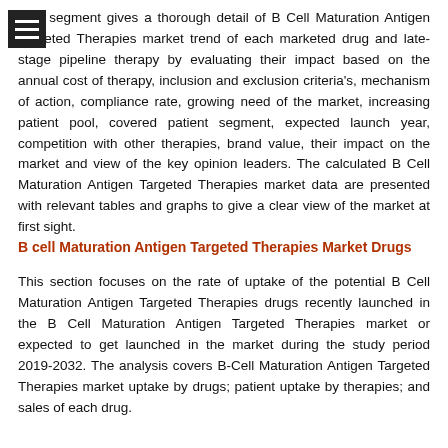This segment gives a thorough detail of B Cell Maturation Antigen Targeted Therapies market trend of each marketed drug and late-stage pipeline therapy by evaluating their impact based on the annual cost of therapy, inclusion and exclusion criteria's, mechanism of action, compliance rate, growing need of the market, increasing patient pool, covered patient segment, expected launch year, competition with other therapies, brand value, their impact on the market and view of the key opinion leaders. The calculated B Cell Maturation Antigen Targeted Therapies market data are presented with relevant tables and graphs to give a clear view of the market at first sight.
B cell Maturation Antigen Targeted Therapies Market Drugs
This section focuses on the rate of uptake of the potential B Cell Maturation Antigen Targeted Therapies drugs recently launched in the B Cell Maturation Antigen Targeted Therapies market or expected to get launched in the market during the study period 2019-2032. The analysis covers B-Cell Maturation Antigen Targeted Therapies market uptake by drugs; patient uptake by therapies; and sales of each drug.